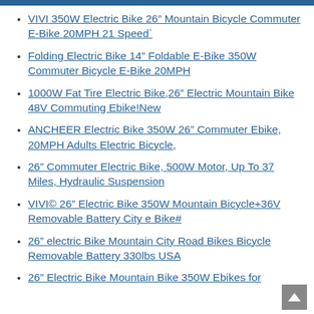VIVI 350W Electric Bike 26” Mountain Bicycle Commuter E-Bike 20MPH 21 Speed`
Folding Electric Bike 14” Foldable E-Bike 350W Commuter Bicycle E-Bike 20MPH
1000W Fat Tire Electric Bike,26” Electric Mountain Bike 48V Commuting Ebike!New
ANCHEER Electric Bike 350W 26” Commuter Ebike, 20MPH Adults Electric Bicycle,
26” Commuter Electric Bike, 500W Motor, Up To 37 Miles, Hydraulic Suspension
VIVI© 26” Electric Bike 350W Mountain Bicycle+36V Removable Battery City e Bike#
26” electric Bike Mountain City Road Bikes Bicycle Removable Battery 330lbs USA
26” Electric Bike Mountain Bike 350W Ebikes for